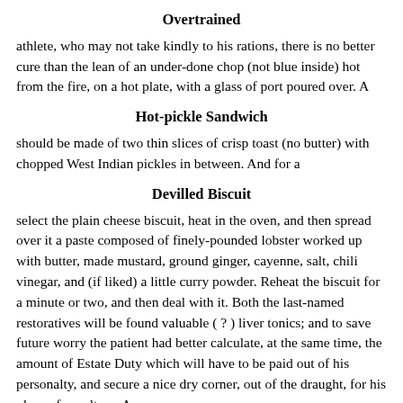Overtrained
athlete, who may not take kindly to his rations, there is no better cure than the lean of an under-done chop (not blue inside) hot from the fire, on a hot plate, with a glass of port poured over. A
Hot-pickle Sandwich
should be made of two thin slices of crisp toast (no butter) with chopped West Indian pickles in between. And for a
Devilled Biscuit
select the plain cheese biscuit, heat in the oven, and then spread over it a paste composed of finely-pounded lobster worked up with butter, made mustard, ground ginger, cayenne, salt, chili vinegar, and (if liked) a little curry powder. Reheat the biscuit for a minute or two, and then deal with it. Both the last-named restoratives will be found valuable ( ? ) liver tonics; and to save future worry the patient had better calculate, at the same time, the amount of Estate Duty which will have to be paid out of his personalty, and secure a nice dry corner, out of the draught, for his place of sepulture. A